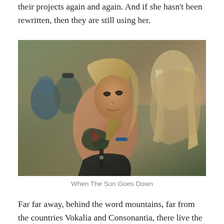their projects again and again. And if she hasn't been rewritten, then they are still using her.
[Figure (photo): A woman with blonde hair and tattoos on her shoulder, wearing a black leather top, looking back over her shoulder at a festival crowd. Another person with long blonde wavy hair is visible beside her.]
When The Sun Goes Down
Far far away, behind the word mountains, far from the countries Vokalia and Consonantia, there live the blind texts. Separated they live in Bookmarksgrove right at the